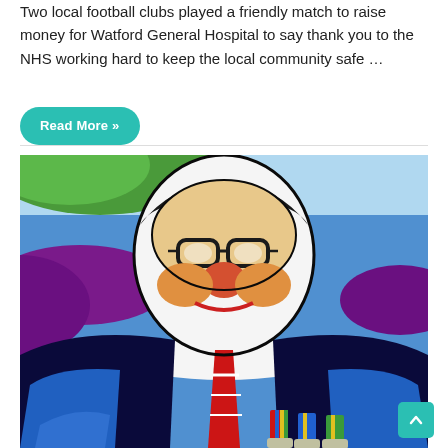Two local football clubs played a friendly match to raise money for Watford General Hospital to say thank you to the NHS working hard to keep the local community safe …
Read More »
[Figure (illustration): Pop-art style painting of an elderly man wearing glasses, a dark jacket, red tie with stripes, and military medals on his chest. Background has green, blue, and purple paint strokes.]